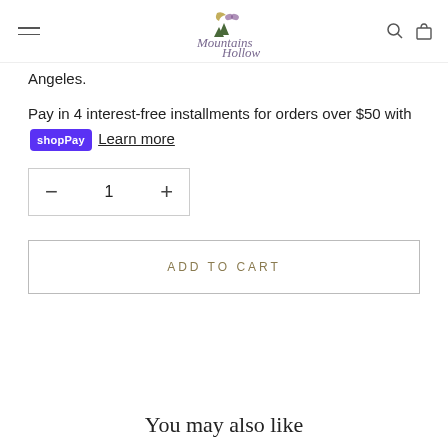Mountains Hollow
Angeles.
Pay in 4 interest-free installments for orders over $50 with shopPay Learn more
− 1 +
ADD TO CART
You may also like